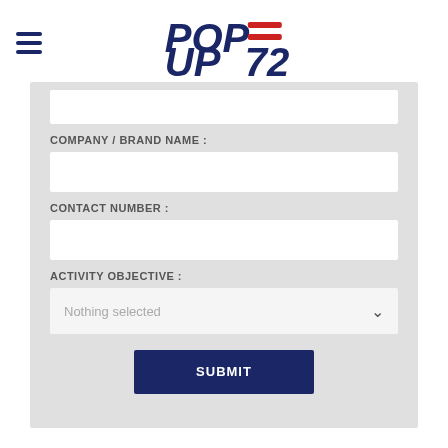[Figure (logo): POP UP 72 logo with hamburger menu icon. Text 'POP' and 'UP72' in dark navy blue bold italic font, with two red horizontal bars forming an equals-like symbol between POP and 72.]
COMPANY / BRAND NAME :
CONTACT NUMBER :
ACTIVITY OBJECTIVE :
Nothing selected
SUBMIT